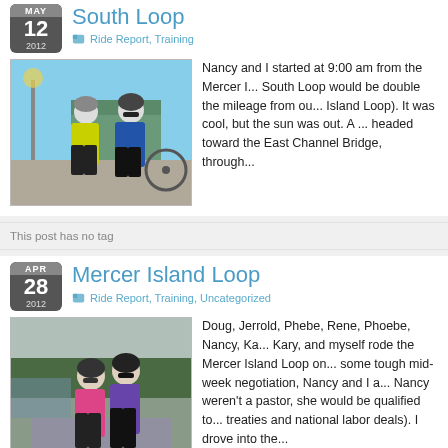South Loop
Ride Report, Training
[Figure (photo): Two cyclists in helmets and cycling gear standing together outdoors near a building on a sunny day.]
Nancy and I started at 9:00 am from the Mercer I... South Loop would be double the mileage from ou... Island Loop). It was cool, but the sun was out. A ... headed toward the East Channel Bridge, through...
This post has no tag
Mercer Island Loop
Ride Report, Training, Uncategorized
[Figure (photo): Two cyclists wearing helmets and cycling gear posing together outdoors on a cloudy day near trees.]
Doug, Jerrold, Phebe, Rene, Phoebe, Nancy, Ka... Kary, and myself rode the Mercer Island Loop on... some tough mid-week negotiation, Nancy and I a... Nancy weren't a pastor, she would be qualified to... treaties and national labor deals). I drove into the...